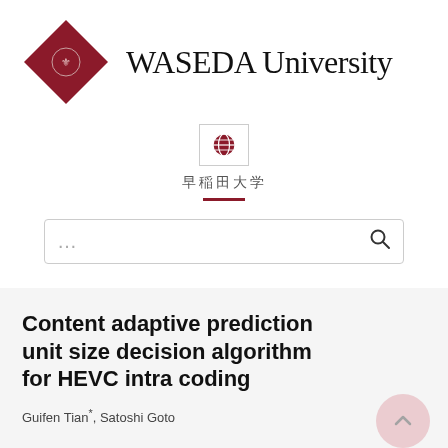[Figure (logo): Waseda University logo: dark red diamond shape with crest, alongside text 'WASEDA University' in serif font]
[Figure (other): Globe/world icon in a bordered box, followed by Japanese text and a dark red horizontal rule, above a search bar with ellipsis and magnifying glass icon]
Content adaptive prediction unit size decision algorithm for HEVC intra coding
Guifen Tian*, Satoshi Goto